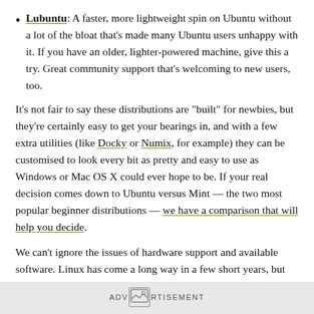Lubuntu: A faster, more lightweight spin on Ubuntu without a lot of the bloat that's made many Ubuntu users unhappy with it. If you have an older, lighter-powered machine, give this a try. Great community support that's welcoming to new users, too.
It's not fair to say these distributions are "built" for newbies, but they're certainly easy to get your bearings in, and with a few extra utilities (like Docky or Numix, for example) they can be customised to look every bit as pretty and easy to use as Windows or Mac OS X could ever hope to be. If your real decision comes down to Ubuntu versus Mint — the two most popular beginner distributions — we have a comparison that will help you decide.
We can't ignore the issues of hardware support and available software. Linux has come a long way in a few short years, but
ADVERTISEMENT